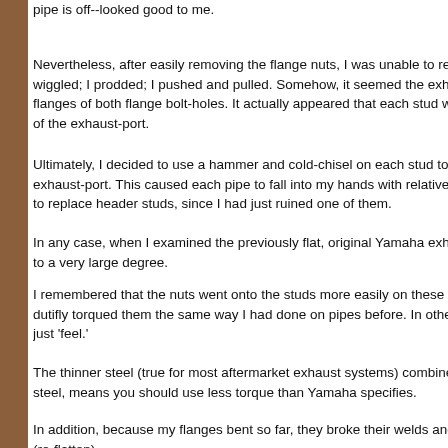pipe is off--looked good to me.
Nevertheless, after easily removing the flange nuts, I was unable to remove either pipe off the header-studs. I wiggled; I prodded; I pushed and pulled. Somehow, it seemed the exhaust-studs had become embedded in the flanges of both flange bolt-holes. It actually appeared that each stud was bent in a direction away from the center of the exhaust-port.
Ultimately, I decided to use a hammer and cold-chisel on each stud to bend it back toward the center of its exhaust-port. This caused each pipe to fall into my hands with relative ease. Of course, I was now going to have to replace header studs, since I had just ruined one of them.
In any case, when I examined the previously flat, original Yamaha exhaust flange, I could see it had been bowed to a very large degree.
I remembered that the nuts went onto the studs more easily on these pipes (which have thicker flanges). I had dutifly torqued them the same way I had done on pipes before. In other words, I followed the torque specs, not just 'feel.'
The thinner steel (true for most aftermarket exhaust systems) combined with the fact that they are made from mild steel, means you should use less torque than Yamaha specifies.
In addition, because my flanges bent so far, they broke their welds and I had to replace all the studs and un-warp (re-flatten)
My exhaust flanges are not removable from the pipe without a lathe. No shop was handy, so I did it myself. This article describes how I un-warped my header flanges and replaced my exhaust header s